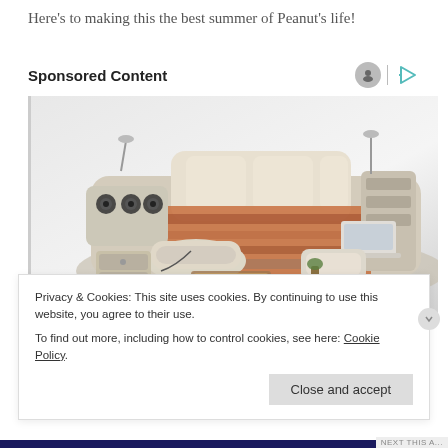Here’s to making this the best summer of Peanut’s life!
Sponsored Content
[Figure (photo): A large multi-functional luxury bed with massage chair, built-in speakers, storage drawers, and various attachments including a laptop stand and reading lamps, shown in cream/beige leather with brown bedding.]
Privacy & Cookies: This site uses cookies. By continuing to use this website, you agree to their use.
To find out more, including how to control cookies, see here: Cookie Policy
Close and accept